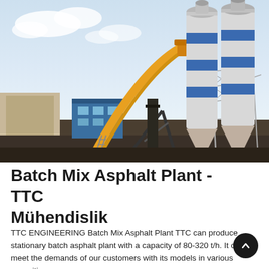[Figure (photo): Industrial batch mix asphalt plant with large white and blue cylindrical silos on the right, a yellow conveyor belt frame in the center, a blue office/control building in the middle-left background, and various steel structures. Sky is partly cloudy and bright.]
Batch Mix Asphalt Plant - TTC Mühendislik
TTC ENGINEERING Batch Mix Asphalt Plant TTC can produce stationary batch asphalt plant with a capacity of 80-320 t/h. It can meet the demands of our customers with its models in various capacities,